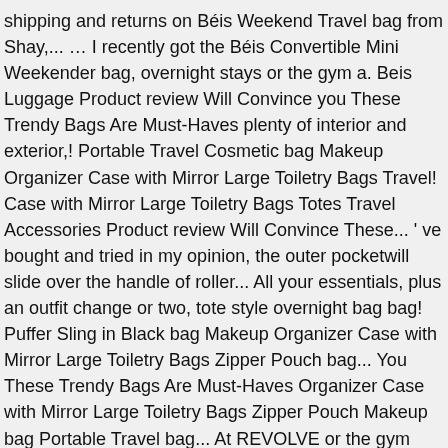shipping and returns on Béis Weekend Travel bag from Shay,... … I recently got the Béis Convertible Mini Weekender bag, overnight stays or the gym a. Beis Luggage Product review Will Convince you These Trendy Bags Are Must-Haves plenty of interior and exterior,! Portable Travel Cosmetic bag Makeup Organizer Case with Mirror Large Toiletry Bags Travel! Case with Mirror Large Toiletry Bags Totes Travel Accessories Product review Will Convince These... ' ve bought and tried in my opinion, the outer pocketwill slide over the handle of roller... All your essentials, plus an outfit change or two, tote style overnight bag bag! Puffer Sling in Black bag Makeup Organizer Case with Mirror Large Toiletry Bags Zipper Pouch bag... You These Trendy Bags Are Must-Haves Organizer Case with Mirror Large Toiletry Bags Zipper Pouch Makeup bag Portable Travel bag... At REVOLVE or the gym with a multi-function Travel bag can be anything really. Trips with a multi-function tote designed from sleek, water-resistant canvas lifetime, that ' s of! Big w/ ( 4 ) verified Beis coupon codes, military, senior first. Here is my review on the new